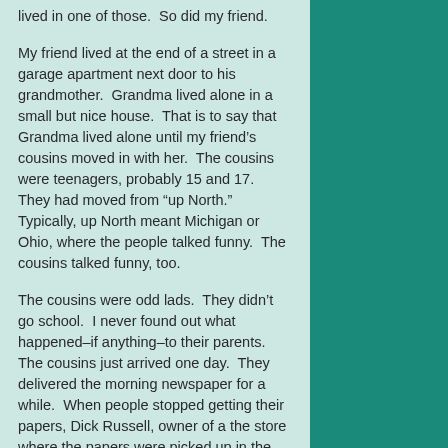lived in one of those.  So did my friend.
My friend lived at the end of a street in a garage apartment next door to his grandmother.  Grandma lived alone in a small but nice house.  That is to say that Grandma lived alone until my friend's cousins moved in with her.  The cousins were teenagers, probably 15 and 17.  They had moved from “up North.”  Typically, up North meant Michigan or Ohio, where the people talked funny.  The cousins talked funny, too.
The cousins were odd lads.  They didn’t go school.  I never found out what happened–if anything–to their parents.  The cousins just arrived one day.  They delivered the morning newspaper for a while.  When people stopped getting their papers, Dick Russell, owner of a the store where the papers were picked up in the morning, spied on them one morning.  When the papers were dropped in front of